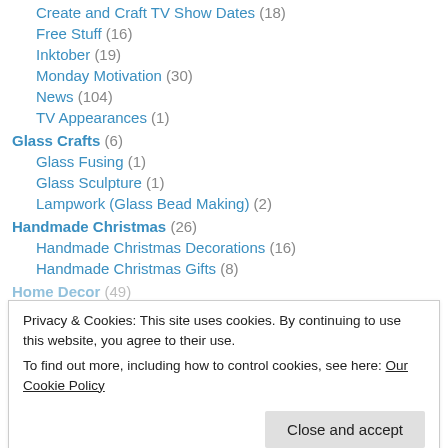Create and Craft TV Show Dates (18)
Free Stuff (16)
Inktober (19)
Monday Motivation (30)
News (104)
TV Appearances (1)
Glass Crafts (6)
Glass Fusing (1)
Glass Sculpture (1)
Lampwork (Glass Bead Making) (2)
Handmade Christmas (26)
Handmade Christmas Decorations (16)
Handmade Christmas Gifts (8)
Home Decor (49)
Privacy & Cookies: This site uses cookies. By continuing to use this website, you agree to their use. To find out more, including how to control cookies, see here: Our Cookie Policy
Resin (6)